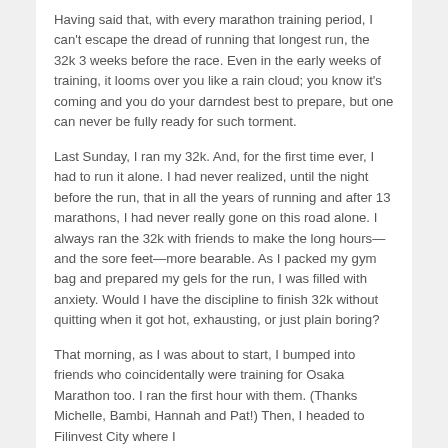Having said that, with every marathon training period, I can't escape the dread of running that longest run, the 32k 3 weeks before the race. Even in the early weeks of training, it looms over you like a rain cloud; you know it's coming and you do your darndest best to prepare, but one can never be fully ready for such torment.
Last Sunday, I ran my 32k. And, for the first time ever, I had to run it alone. I had never realized, until the night before the run, that in all the years of running and after 13 marathons, I had never really gone on this road alone. I always ran the 32k with friends to make the long hours—and the sore feet—more bearable. As I packed my gym bag and prepared my gels for the run, I was filled with anxiety. Would I have the discipline to finish 32k without quitting when it got hot, exhausting, or just plain boring?
That morning, as I was about to start, I bumped into friends who coincidentally were training for Osaka Marathon too. I ran the first hour with them. (Thanks Michelle, Bambi, Hannah and Pat!) Then, I headed to Filinvest City where I